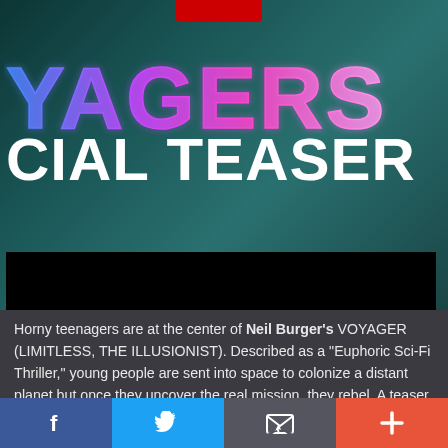[Figure (screenshot): Movie promotional screenshot for VOYAGERS showing neon styled title text 'YAGERS' in blue-purple gradient and 'CIAL TEASER' in white text over a dark teal background with a partially visible figure. A black video player bar is below the title text.]
Horny teenagers are at the center of Neil Burger's VOYAGER (LIMITLESS, THE ILLUSIONIST). Described as a "Euphoric Sci-Fi Thriller," young people are sent into space to colonize a distant planet but once they uncover the real mission, they rebel. A teaser trailer was released starring Colin Farrell, Tye Sheridan, Johnny Depp's daughter Lily-Rose Depp and Fionn Whitehead
[Figure (infographic): Social media sharing bar at bottom with four buttons: Facebook (blue), Twitter (light blue), Email/envelope (gray), and Plus/more (orange-red)]